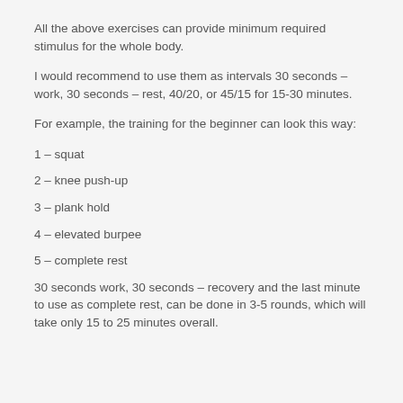All the above exercises can provide minimum required stimulus for the whole body.
I would recommend to use them as intervals 30 seconds – work, 30 seconds – rest, 40/20, or 45/15 for 15-30 minutes.
For example, the training for the beginner can look this way:
1 – squat
2 – knee push-up
3 – plank hold
4 – elevated burpee
5 – complete rest
30 seconds work, 30 seconds – recovery and the last minute to use as complete rest, can be done in 3-5 rounds, which will take only 15 to 25 minutes overall.